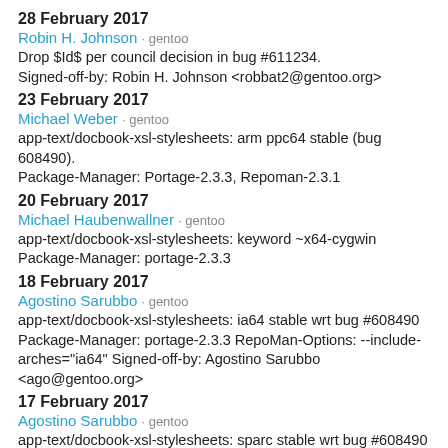28 February 2017
Robin H. Johnson · gentoo
Drop $Id$ per council decision in bug #611234.
Signed-off-by: Robin H. Johnson <robbat2@gentoo.org>
23 February 2017
Michael Weber · gentoo
app-text/docbook-xsl-stylesheets: arm ppc64 stable (bug 608490).
Package-Manager: Portage-2.3.3, Repoman-2.3.1
20 February 2017
Michael Haubenwallner · gentoo
app-text/docbook-xsl-stylesheets: keyword ~x64-cygwin
Package-Manager: portage-2.3.3
18 February 2017
Agostino Sarubbo · gentoo
app-text/docbook-xsl-stylesheets: ia64 stable wrt bug #608490
Package-Manager: portage-2.3.3 RepoMan-Options: --include-arches="ia64" Signed-off-by: Agostino Sarubbo <ago@gentoo.org>
17 February 2017
Agostino Sarubbo · gentoo
app-text/docbook-xsl-stylesheets: sparc stable wrt bug #608490